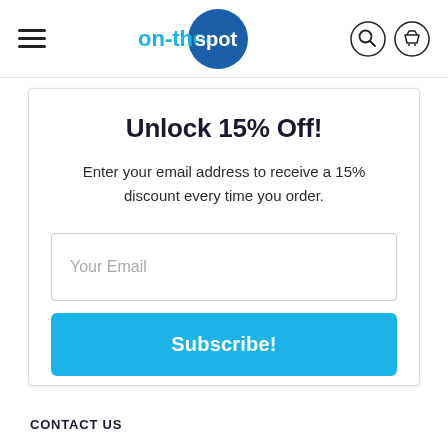on-the-spot (logo with hamburger menu, search, and cart icons)
Unlock 15% Off!
Enter your email address to receive a 15% discount every time you order.
Your Email (input field placeholder)
Subscribe!
CONTACT US